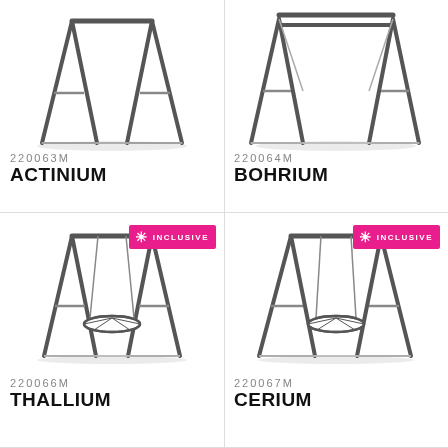[Figure (illustration): Swing set frame without seat - ACTINIUM product illustration]
220063M
ACTINIUM
[Figure (illustration): Swing set frame with double beam - BOHRIUM product illustration]
220064M
BOHRIUM
[Figure (illustration): Swing set with nest/basket seat labeled INCLUSIVE - THALLIUM product illustration]
220066M
THALLIUM
[Figure (illustration): Swing set with nest/basket seat labeled INCLUSIVE - CERIUM product illustration]
220067M
CERIUM